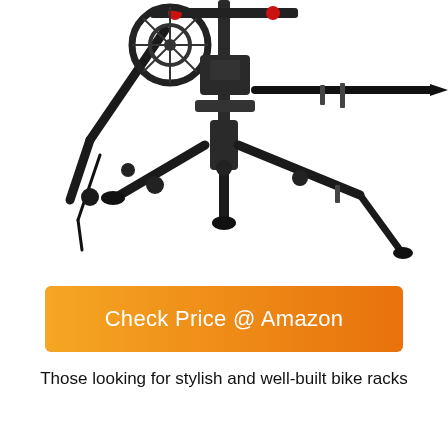[Figure (photo): A bike rack product photo showing a hitch-mounted bike rack with metal arms and straps extended, on a white background. The rack has multiple adjustable arms, clamps, and support legs visible.]
Check Price @ Amazon
Those looking for stylish and well-built bike racks